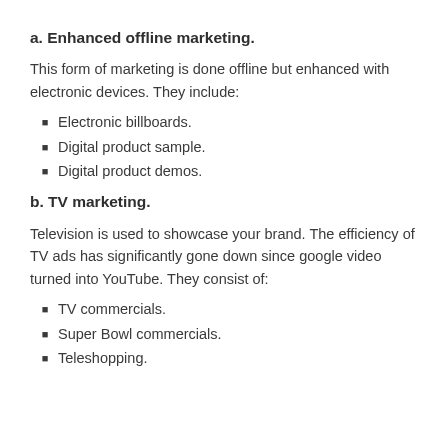a. Enhanced offline marketing.
This form of marketing is done offline but enhanced with electronic devices. They include:
Electronic billboards.
Digital product sample.
Digital product demos.
b. TV marketing.
Television is used to showcase your brand. The efficiency of TV ads has significantly gone down since google video turned into YouTube. They consist of:
TV commercials.
Super Bowl commercials.
Teleshopping.